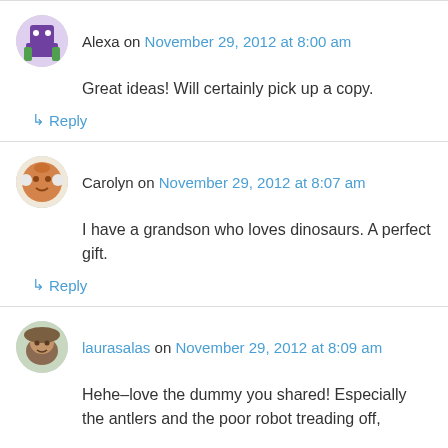Alexa on November 29, 2012 at 8:00 am
Great ideas! Will certainly pick up a copy.
↳ Reply
Carolyn on November 29, 2012 at 8:07 am
I have a grandson who loves dinosaurs. A perfect gift.
↳ Reply
laurasalas on November 29, 2012 at 8:09 am
Hehe–love the dummy you shared! Especially the antlers and the poor robot treading off,